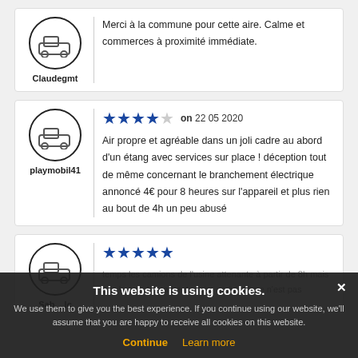Claudegmt
Merci à la commune pour cette aire. Calme et commerces à proximité immédiate.
playmobil41
★★★★☆ on 22 05 2020
Air propre et agréable dans un joli cadre au abord d'un étang avec services sur place ! déception tout de même concernant le branchement électrique annoncé 4€ pour 8 heures sur l'appareil et plus rien au bout de 4h un peu abusé
Sab__lc
This website is using cookies. We use them to give you the best experience. If you continue using our website, we'll assume that you are happy to receive all cookies on this website. Continue Learn more